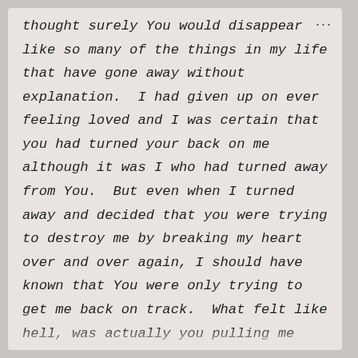thought surely You would disappear like so many of the things in my life that have gone away without explanation.  I had given up on ever feeling loved and I was certain that you had turned your back on me although it was I who had turned away from You.  But even when I turned away and decided that you were trying to destroy me by breaking my heart over and over again, I should have known that You were only trying to get me back on track.  What felt like hell, was actually you pulling me away from the pit and closer to You and for that I'm forever grateful.  And I'm sorry that I didn't